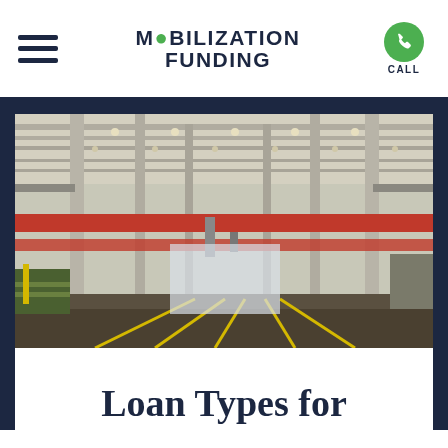MOBILIZATION FUNDING
[Figure (photo): Interior of a large industrial warehouse or factory with overhead red bridge cranes, concrete floors with yellow lane markings, structural steel columns, and fluorescent lighting along the ceiling.]
Loan Types for